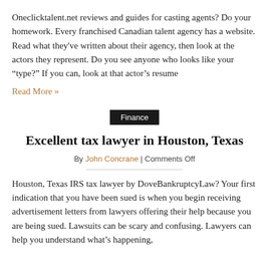Oneclicktalent.net reviews and guides for casting agents? Do your homework. Every franchised Canadian talent agency has a website. Read what they've written about their agency, then look at the actors they represent. Do you see anyone who looks like your "type?" If you can, look at that actor's resume
Read More »
Finance
Excellent tax lawyer in Houston, Texas
By John Concrane | Comments Off
Houston, Texas IRS tax lawyer by DoveBankruptcyLaw? Your first indication that you have been sued is when you begin receiving advertisement letters from lawyers offering their help because you are being sued. Lawsuits can be scary and confusing. Lawyers can help you understand what's happening,